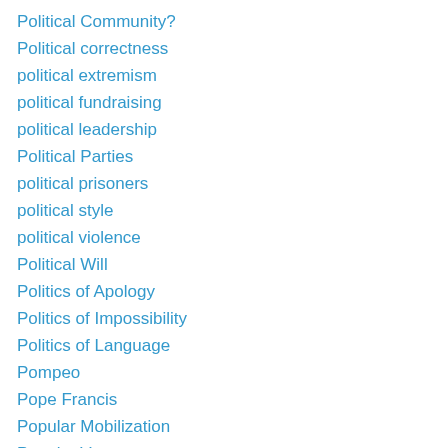Political Community?
Political correctness
political extremism
political fundraising
political leadership
Political Parties
political prisoners
political style
political violence
Political Will
Politics of Apology
Politics of Impossibility
Politics of Language
Pompeo
Pope Francis
Popular Mobilization
Popular Vote
populism
Populist Representation
Port Huron Statement